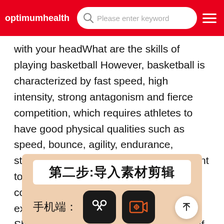optimumhealthre  [search: Please enter keyword]
with your headWhat are the skills of playing basketball However, basketball is characterized by fast speed, high intensity, strong antagonism and fierce competition, which requires athletes to have good physical qualities such as speed, bounce, agility, endurance, strength and flexibility. Students who want to play basketball must have a comprehensive physical exerciseBasketball shooting skills Shooting is a general term for all kinds of actions that throw a bas
[Figure (illustration): Chinese instructional image showing step 2: import material for editing (第二步:导入素材剪辑). Shows mobile apps: CapCut and a video recorder app icon, labeled 手机端 (mobile).]